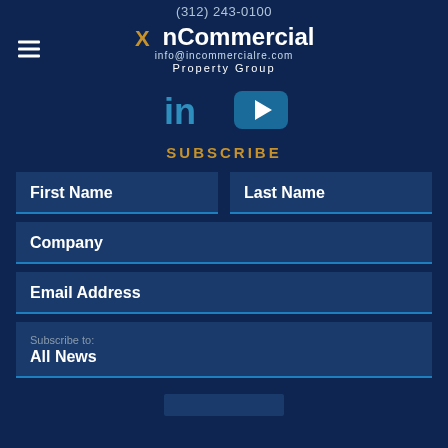(312) 243-0100
[Figure (logo): xnCommercial Property Group logo with hamburger menu icon, LinkedIn and YouTube social icons, phone number (312) 243-0100, and email info@incommercialre.com]
SUBSCRIBE
First Name
Last Name
Company
Email Address
Subscribe to: All News